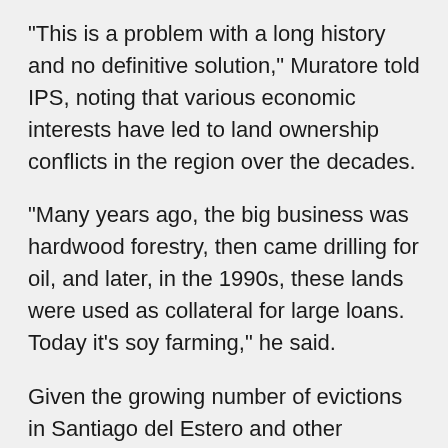"This is a problem with a long history and no definitive solution," Muratore told IPS, noting that various economic interests have led to land ownership conflicts in the region over the decades.
"Many years ago, the big business was hardwood forestry, then came drilling for oil, and later, in the 1990s, these lands were used as collateral for large loans. Today it's soy farming," he said.
Given the growing number of evictions in Santiago del Estero and other provinces, El Ceibal and other campesino advocacy groups have stressed the threat being posed to the traditional way of life practised in these settlements.
"The auctioneers think these people are worried about their houses and fields being sold off, but in fact they are following a way of life that is the complete opposite of